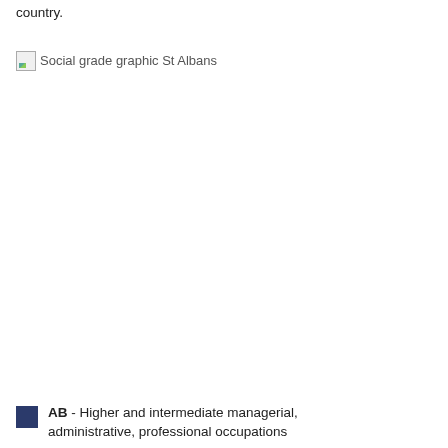country.
[Figure (other): Broken image placeholder for 'Social grade graphic St Albans']
AB - Higher and intermediate managerial, administrative, professional occupations